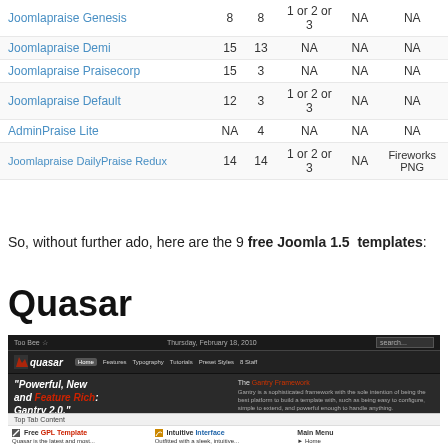| Template | Col 1 | Col 2 | Col 3 | Col 4 | Col 5 |
| --- | --- | --- | --- | --- | --- |
| Joomlapraise Genesis | 8 | 8 | 1 or 2 or 3 | NA | NA |
| Joomlapraise Demi | 15 | 13 | NA | NA | NA |
| Joomlapraise Praisecorp | 15 | 3 | NA | NA | NA |
| Joomlapraise Default | 12 | 3 | 1 or 2 or 3 | NA | NA |
| AdminPraise Lite | NA | 4 | NA | NA | NA |
| Joomlapraise DailyPraise Redux | 14 | 14 | 1 or 2 or 3 | NA | Fireworks PNG |
So, without further ado, here are the 9 free Joomla 1.5  templates:
Quasar
[Figure (screenshot): Screenshot of the Quasar Joomla template website showing a dark-themed layout with the tagline 'Powerful, New and Feature Rich: Gantry 2.0.' The template features a top navigation bar, logo, nav links (Home, Features, Typography, Tutorials, Preset Styles, 8 Staff), a Gantry Framework description panel, and a bottom section with tabs and columns for Free GPL Template, Intuitive Interface, and Main Menu.]